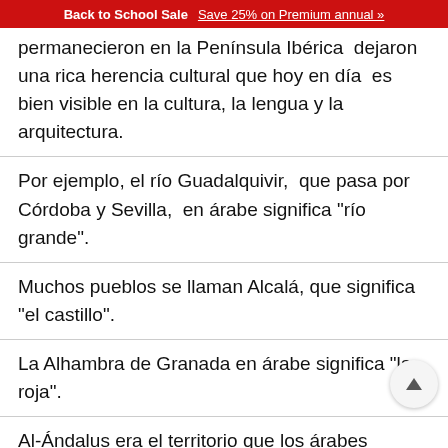Back to School Sale  Save 25% on Premium annual »
permanecieron en la Península Ibérica  dejaron una rica herencia cultural que hoy en día  es bien visible en la cultura, la lengua y la arquitectura.
Por ejemplo, el río Guadalquivir,  que pasa por Córdoba y Sevilla,  en árabe significa "río grande".
Muchos pueblos se llaman Alcalá, que significa "el castillo".
La Alhambra de Granada en árabe significa "la roja".
Al-Ándalus era el territorio que los árabes dominaban en la Península Ibérica,  de ahí el